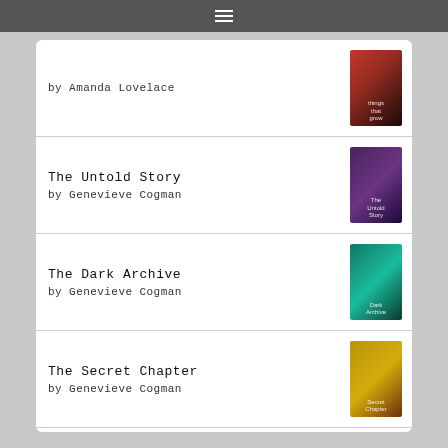[Figure (screenshot): Top navigation bar with hamburger menu icon on gray background]
by Amanda Lovelace
The Untold Story
by Genevieve Cogman
The Dark Archive
by Genevieve Cogman
The Secret Chapter
by Genevieve Cogman
[Figure (logo): goodreads logo button]